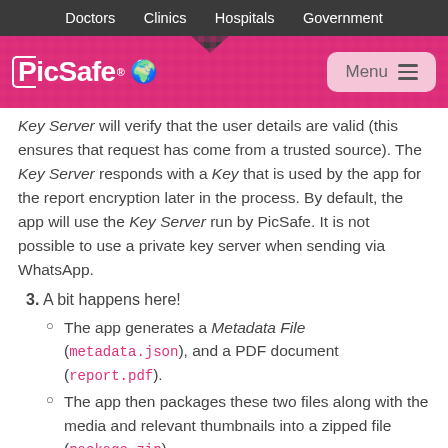Doctors   Clinics   Hospitals   Government
[Figure (logo): PicSafe logo with globe icon and Menu button on pink/magenta header bar]
Key Server will verify that the user details are valid (this ensures that request has come from a trusted source). The Key Server responds with a Key that is used by the app for the report encryption later in the process. By default, the app will use the Key Server run by PicSafe. It is not possible to use a private key server when sending via WhatsApp.
3. A bit happens here!
The app generates a Metadata File (metadata.json), and a PDF document (report.pdf).
The app then packages these two files along with the media and relevant thumbnails into a zipped file (package.zip).